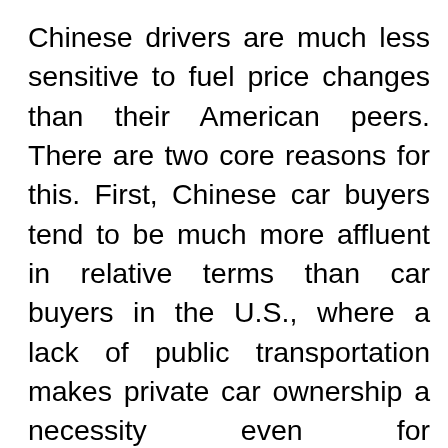Chinese drivers are much less sensitive to fuel price changes than their American peers. There are two core reasons for this. First, Chinese car buyers tend to be much more affluent in relative terms than car buyers in the U.S., where a lack of public transportation makes private car ownership a necessity even for impoverished citizens in many areas. Second, with China's notorious traffic jams, congestion is a much stronger influencer of car use than pump prices. Improved infrastructure and traffic management policies that restore traffic flow would do much more to stimulate increased car use in China than lower gasoline prices would, being more of a compelling...